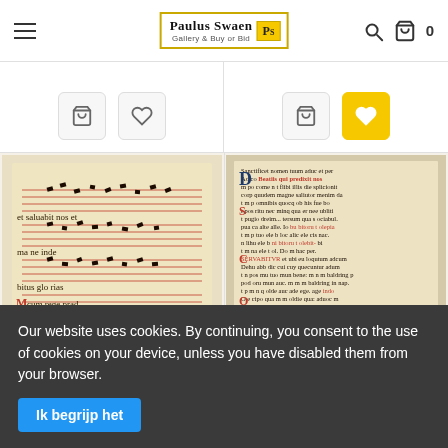Paulus Swaen Gallery & Buy or Bid
[Figure (photo): Top portion of two product cards showing action buttons (cart and heart/wishlist icons). Right card has active yellow heart button.]
[Figure (photo): Medieval illuminated manuscript leaf with musical notation (neumes on red lines) and Gothic text, showing chant notation with Latin text including 'et saluabit nos', 'mane unde', 'bitus glorias', 'e vo', 'cum rege prad', 'men'.]
[Figure (photo): Medieval manuscript leaf from a Book of Hours with dense Gothic script in black and red ink, with illuminated decorative initials in blue, red and gold.]
Our website uses cookies. By continuing, you consent to the use of cookies on your device, unless you have disabled them from your browser.
Ik begrijp het